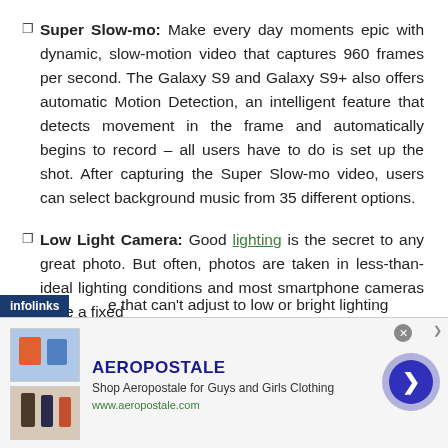☐ Super Slow-mo: Make every day moments epic with dynamic, slow-motion video that captures 960 frames per second. The Galaxy S9 and Galaxy S9+ also offers automatic Motion Detection, an intelligent feature that detects movement in the frame and automatically begins to record – all users have to do is set up the shot. After capturing the Super Slow-mo video, users can select background music from 35 different options.
☐ Low Light Camera: Good lighting is the secret to any great photo. But often, photos are taken in less-than-ideal lighting conditions and most smartphone cameras have a fixed aperture that can't adjust to low or bright lighting
[Figure (screenshot): Aeropostale advertisement banner with infolinks badge, showing clothing images, brand name AEROPOSTALE, tagline 'Shop Aeropostale for Guys and Girls Clothing', URL www.aeropostale.com, close button, and navigation arrow.]